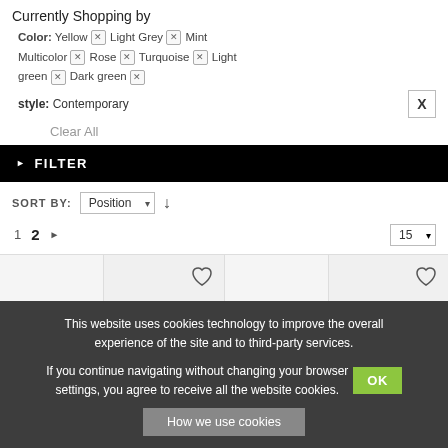Currently Shopping by
Color: Yellow Multicolor green [x] Light Grey [x] Rose [x] Mint [x] Turquoise [x] Light [x] Dark green [x]
style: Contemporary  X
Clear All
▶ FILTER
SORT BY: Position ▾ ↓
1  2  ▶  15 ▾
[Figure (screenshot): Two product card placeholders with heart/wishlist icons in top right corner]
This website uses cookies technology to improve the overall experience of the site and to third-party services. If you continue navigating without changing your browser settings, you agree to receive all the website cookies. OK How we use cookies